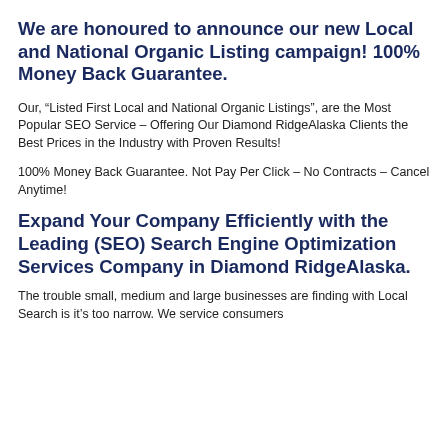We are honoured to announce our new Local and National Organic Listing campaign! 100% Money Back Guarantee.
Our, “Listed First Local and National Organic Listings”, are the Most Popular SEO Service – Offering Our Diamond RidgeAlaska Clients the Best Prices in the Industry with Proven Results!
100% Money Back Guarantee. Not Pay Per Click – No Contracts – Cancel Anytime!
Expand Your Company Efficiently with the Leading (SEO) Search Engine Optimization Services Company in Diamond RidgeAlaska.
The trouble small, medium and large businesses are finding with Local Search is it’s too narrow. We service consumers